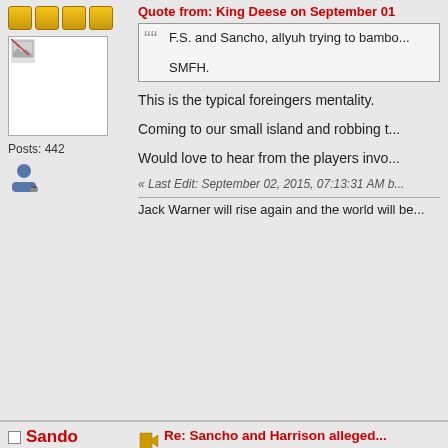Posts: 442
Quote from: King Deese on September 01
F.S. and Sancho, allyuh trying to bambo...
SMFH.
This is the typical foreingers mentality.
Coming to our small island and robbing t...
Would love to hear from the players invo...
« Last Edit: September 02, 2015, 07:13:31 AM b...
Jack Warner will rise again and the world will be...
Sando
Hero Warrior
Re: Sancho and Harrison alleged... payment for Central transfers
« Reply #1000 on: September 02, 2015, 09:53:...
FS really surpise me here.